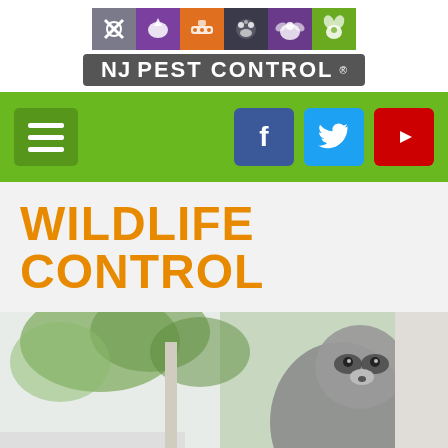[Figure (logo): NJ Pest Control logo with animal/pest icons above the brand name on a gray bar]
[Figure (screenshot): Green navigation bar with hamburger menu icon on left and Facebook, Twitter, YouTube social media buttons on right]
WILDLIFE CONTROL
[Figure (photo): Raccoon climbing through or hanging from a window frame with trees visible in background]